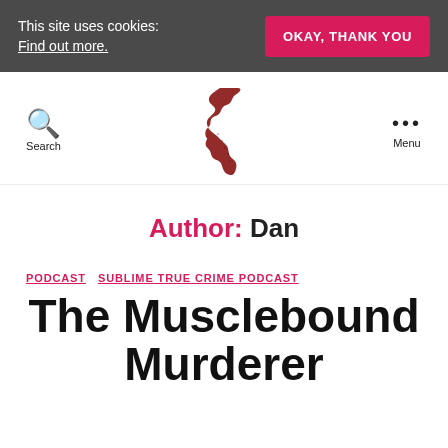This site uses cookies: Find out more.
OKAY, THANK YOU
[Figure (logo): UK map logo in dark red/black illustration style]
Search
Menu
Author: Dan
PODCAST
SUBLIME TRUE CRIME PODCAST
The Musclebound Murderer